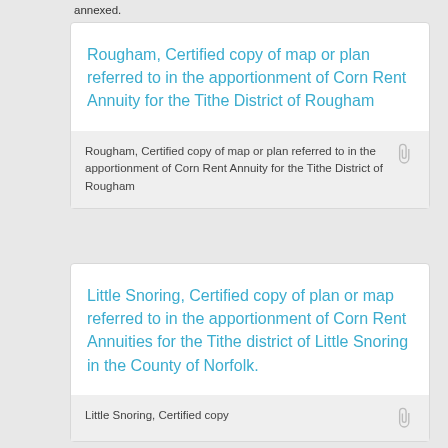annexed.
Rougham, Certified copy of map or plan referred to in the apportionment of Corn Rent Annuity for the Tithe District of Rougham
Rougham, Certified copy of map or plan referred to in the apportionment of Corn Rent Annuity for the Tithe District of Rougham
Little Snoring, Certified copy of plan or map referred to in the apportionment of Corn Rent Annuities for the Tithe district of Little Snoring in the County of Norfolk.
Little Snoring, Certified copy